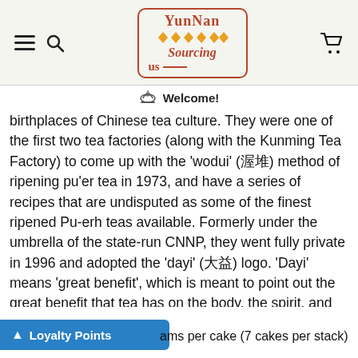Yunnan Sourcing US — navigation header with logo
Welcome!
birthplaces of Chinese tea culture. They were one of the first two tea factories (along with the Kunming Tea Factory) to come up with the 'wodui' (渥堆) method of ripening pu'er tea in 1973, and have a series of recipes that are undisputed as some of the finest ripened Pu-erh teas available. Formerly under the umbrella of the state-run CNNP, they went fully private in 1996 and adopted the 'dayi' (大益) logo. 'Dayi' means 'great benefit', which is meant to point out the great benefit that tea has on the body, the spirit, and human relationships.
ams per cake (7 cakes per stack)
Loyalty Points